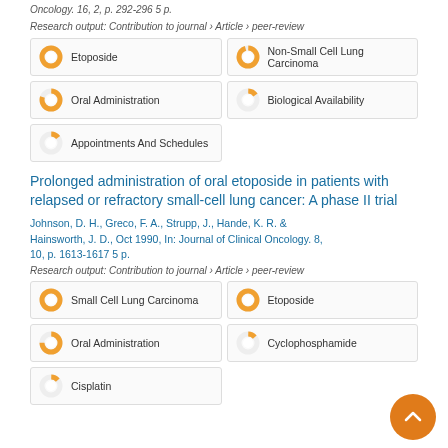Oncology. 16, 2, p. 292-296 5 p.
Research output: Contribution to journal › Article › peer-review
[Figure (infographic): Five keyword badges with donut chart icons: Etoposide (100%), Non-Small Cell Lung Carcinoma (high %), Oral Administration (high %), Biological Availability (low %), Appointments And Schedules (low %)]
Prolonged administration of oral etoposide in patients with relapsed or refractory small-cell lung cancer: A phase II trial
Johnson, D. H., Greco, F. A., Strupp, J., Hande, K. R. & Hainsworth, J. D., Oct 1990, In: Journal of Clinical Oncology. 8, 10, p. 1613-1617 5 p.
Research output: Contribution to journal › Article › peer-review
[Figure (infographic): Five keyword badges with donut chart icons: Small Cell Lung Carcinoma (100%), Etoposide (100%), Oral Administration (high %), Cyclophosphamide (low %), Cisplatin (low %)]